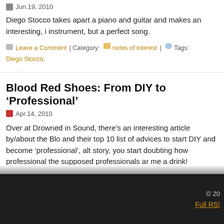Jun.19, 2010
Diego Stocco takes apart a piano and guitar and makes an interesting, instrument, but a perfect song.
Leave a Comment | Category: notes of interest | Tags: Diego Stocco,
Blood Red Shoes: From DIY to ‘Professional’
Apr.14, 2010
Over at Drowned in Sound, there’s an interesting article by/about the Blo and their top 10 list of advices to start DIY and become ‘professional’, alt story, you start doubting how professional the supposed professionals ar me a drink!
Leave a Comment | Category: notes of interest | Tags: blood red shoes links
© 20 Full RSS